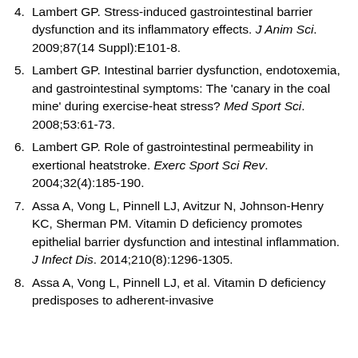Lambert GP. Stress-induced gastrointestinal barrier dysfunction and its inflammatory effects. J Anim Sci. 2009;87(14 Suppl):E101-8.
Lambert GP. Intestinal barrier dysfunction, endotoxemia, and gastrointestinal symptoms: The 'canary in the coal mine' during exercise-heat stress? Med Sport Sci. 2008;53:61-73.
Lambert GP. Role of gastrointestinal permeability in exertional heatstroke. Exerc Sport Sci Rev. 2004;32(4):185-190.
Assa A, Vong L, Pinnell LJ, Avitzur N, Johnson-Henry KC, Sherman PM. Vitamin D deficiency promotes epithelial barrier dysfunction and intestinal inflammation. J Infect Dis. 2014;210(8):1296-1305.
Assa A, Vong L, Pinnell LJ, et al. Vitamin D deficiency predisposes to adherent-invasive